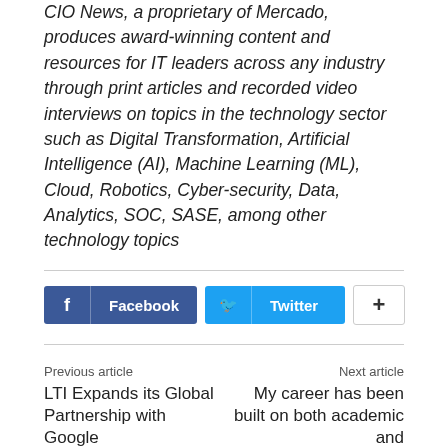CIO News, a proprietary of Mercado, produces award-winning content and resources for IT leaders across any industry through print articles and recorded video interviews on topics in the technology sector such as Digital Transformation, Artificial Intelligence (AI), Machine Learning (ML), Cloud, Robotics, Cyber-security, Data, Analytics, SOC, SASE, among other technology topics
[Figure (other): Social sharing buttons: Facebook button (dark blue), Twitter button (light blue), and a plus/more button (white with border)]
Previous article
LTI Expands its Global Partnership with Google
Next article
My career has been built on both academic and